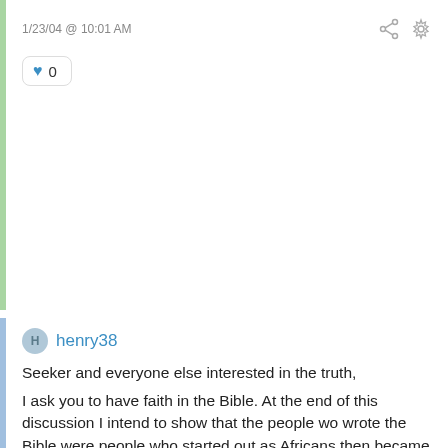1/23/04 @ 10:01 AM
♥ 0
henry38
Seeker and everyone else interested in the truth,

I ask you to have faith in the Bible. At the end of this discussion I intend to show that the people wo wrote the Bible were people who started out as Africans then became known as the Israelites and ended up as Africans all over again. This is all in the Bible so please let the Bible do what it's best at which is telling the truth.

Anyway Melesi back to you. I asked you earlier about the Falasian Jews being in Africa for nearly